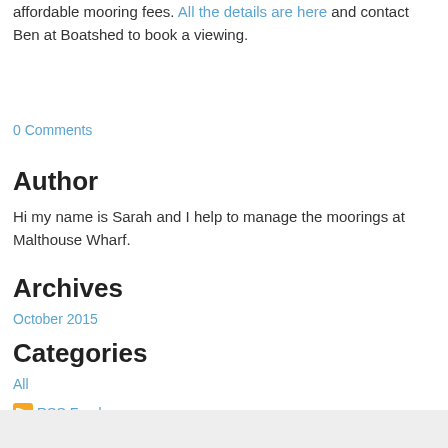affordable mooring fees. All the details are here and contact Ben at Boatshed to book a viewing.
0 Comments
Author
Hi my name is Sarah and I help to manage the moorings at Malthouse Wharf.
Archives
October 2015
Categories
All
RSS Feed